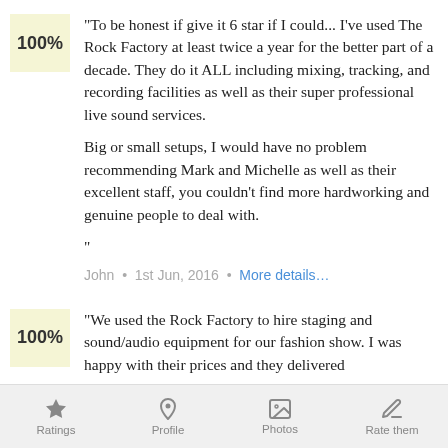"To be honest if give it 6 star if I could... I've used The Rock Factory at least twice a year for the better part of a decade. They do it ALL including mixing, tracking, and recording facilities as well as their super professional live sound services.

Big or small setups, I would have no problem recommending Mark and Michelle as well as their excellent staff, you couldn't find more hardworking and genuine people to deal with.
""
John  •  1st Jun, 2016  •  More details…
"We used the Rock Factory to hire staging and sound/audio equipment for our fashion show. I was happy with their prices and they delivered
Ratings   Profile   Photos   Rate them